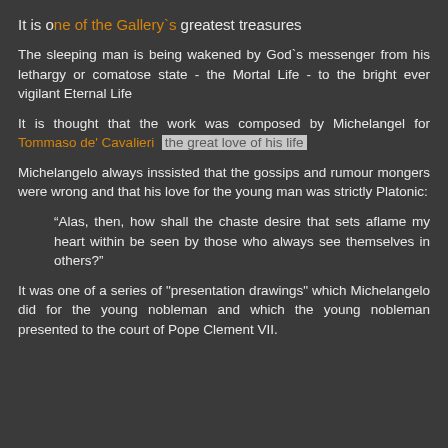It is one of the Gallery`s greatest treasures
The sleeping man is being wakened by God`s messenger from his lethargy or comatose state - the Mortal Life - to the bright ever vigilant Eternal Life
It is thought that the work was composed by Michelangel for Tommaso de' Cavalieri  the great love of his life
Michelangelo always inssisted that the gossips and rumour mongers were wrong and that his love for the young man was strictly Platonic:
“Alas, then, how shall the chaste desire that sets aflame my heart within be seen by those who always see themselves in others?”
It was one of a series of "presentation drawings" which Michelangelo did for the young nobleman and which the young nobleman presented to the court of Pope Clement VII.